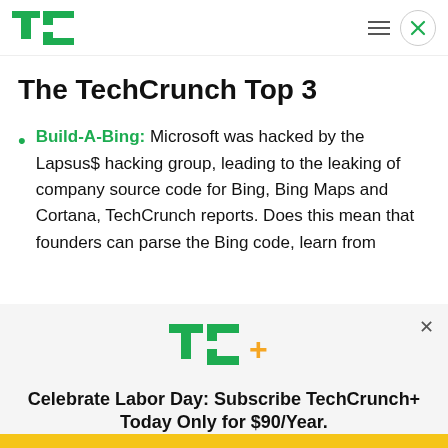TechCrunch logo, navigation menu, close button
The TechCrunch Top 3
Build-A-Bing: Microsoft was hacked by the Lapsus$ hacking group, leading to the leaking of company source code for Bing, Bing Maps and Cortana, TechCrunch reports. Does this mean that founders can parse the Bing code, learn from
[Figure (logo): TC+ logo in green and orange]
Celebrate Labor Day: Subscribe TechCrunch+ Today Only for $90/Year.
GET OFFER NOW